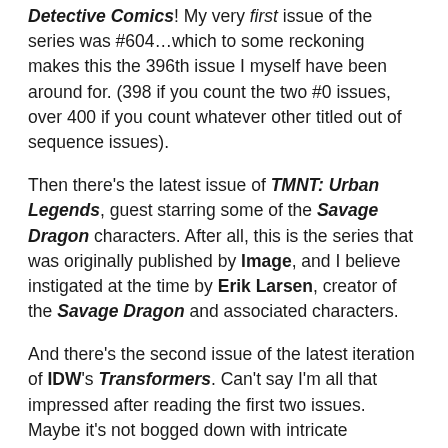Detective Comics! My very first issue of the series was #604…which to some reckoning makes this the 396th issue I myself have been around for. (398 if you count the two #0 issues, over 400 if you count whatever other titled out of sequence issues).
Then there's the latest issue of TMNT: Urban Legends, guest starring some of the Savage Dragon characters. After all, this is the series that was originally published by Image, and I believe instigated at the time by Erik Larsen, creator of the Savage Dragon and associated characters.
And there's the second issue of the latest iteration of IDW's Transformers. Can't say I'm all that impressed after reading the first two issues. Maybe it's not bogged down with intricate continuity, but it's not engaging me all that much.